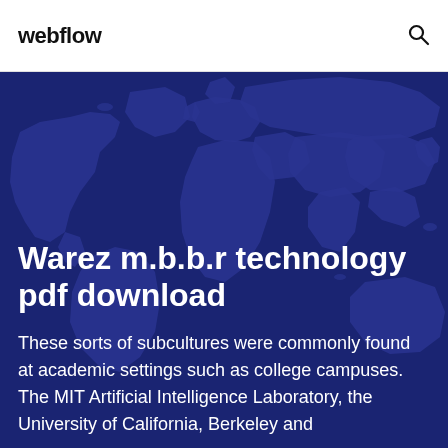webflow
[Figure (illustration): Dark blue world map illustration used as hero background image]
Warez m.b.b.r technology pdf download
These sorts of subcultures were commonly found at academic settings such as college campuses. The MIT Artificial Intelligence Laboratory, the University of California, Berkeley and